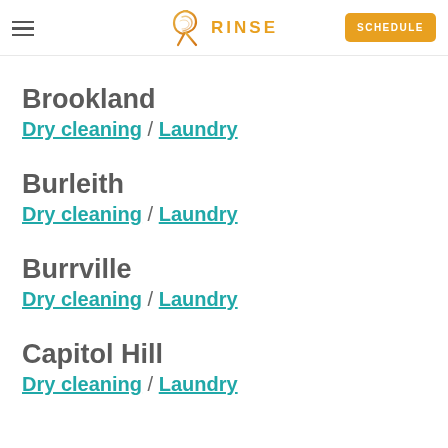RINSE — Dry cleaning / Laundry — Brightwood Park
Brookland
Dry cleaning / Laundry
Burleith
Dry cleaning / Laundry
Burrville
Dry cleaning / Laundry
Capitol Hill
Dry cleaning / Laundry